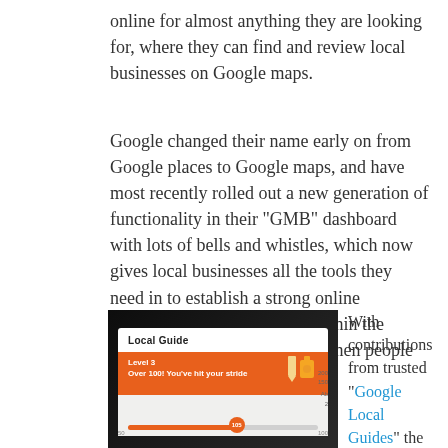online for almost anything they are looking for, where they can find and review local businesses on Google maps.
Google changed their name early on from Google places to Google maps, and have most recently rolled out a new generation of functionality in their “GMB” dashboard with lots of bells and whistles, which now gives local businesses all the tools they need in to establish a strong online presence, to be competitive within the Google space and be noticed when people search for them.
[Figure (photo): A smartphone screen showing a Google Local Guide achievement card. The card displays 'Local Guide' at the top, with an orange banner showing 'Level 3' and 'Over 100! You’ve hit your stride'. Below is a progress bar with a marker at 105, and scale markings at 50, 100, 150, 200, with pencil and camera icons visible.]
With contributions from trusted “Google Local Guides” the Google Maps database has become more and more accurate giving